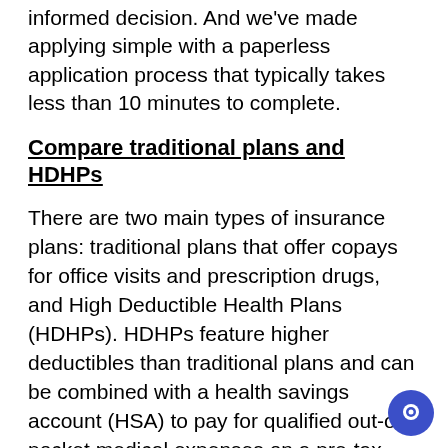informed decision. And we've made applying simple with a paperless application process that typically takes less than 10 minutes to complete.
Compare traditional plans and HDHPs
There are two main types of insurance plans: traditional plans that offer copays for office visits and prescription drugs, and High Deductible Health Plans (HDHPs). HDHPs feature higher deductibles than traditional plans and can be combined with a health savings account (HSA) to pay for qualified out-of-pocket medical expenses on a pre-tax basis.
Each Marketplace plan is noted either with an HSA symbol, so you may easily spot the plans that are HSA compatible, or as a co-pay option.